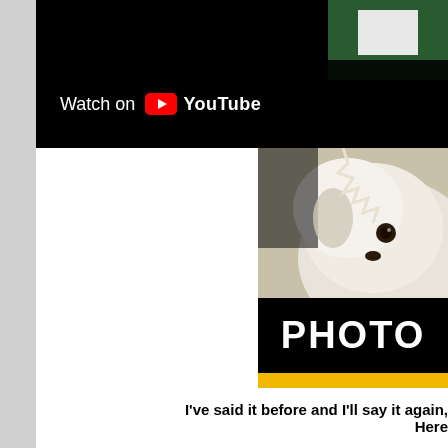[Figure (screenshot): YouTube video embed showing 'Watch on YouTube' button overlay on a dark/black video frame with a green patch in the upper right corner]
[Figure (photo): Partial image of a white fluffy dog's face peeking from the top, above a black banner reading 'PHOTO' and a yellow banner reading 'J.R.'s']
I've said it before and I'll say it again, Here